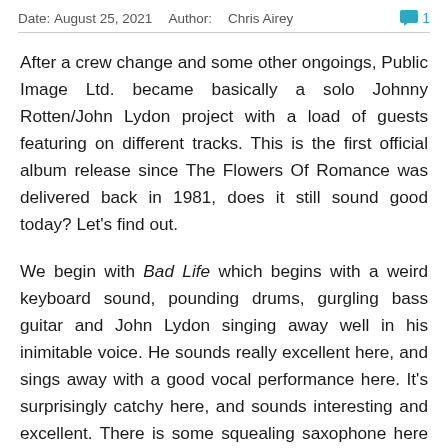Date: August 25, 2021  Author: Chris Airey  💬 1
After a crew change and some other ongoings, Public Image Ltd. became basically a solo Johnny Rotten/John Lydon project with a load of guests featuring on different tracks. This is the first official album release since The Flowers Of Romance was delivered back in 1981, does it still sound good today? Let's find out.
We begin with Bad Life which begins with a weird keyboard sound, pounding drums, gurgling bass guitar and John Lydon singing away well in his inimitable voice. He sounds really excellent here, and sings away with a good vocal performance here. It's surprisingly catchy here, and sounds interesting and excellent. There is some squealing saxophone here too. The song itself is